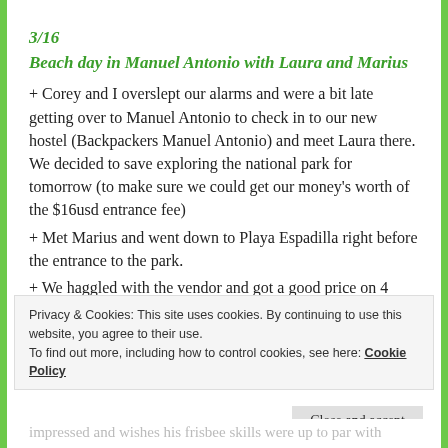3/16
Beach day in Manuel Antonio with Laura and Marius
+ Corey and I overslept our alarms and were a bit late getting over to Manuel Antonio to check in to our new hostel (Backpackers Manuel Antonio) and meet Laura there. We decided to save exploring the national park for tomorrow (to make sure we could get our money’s worth of the $16usd entrance fee)
+ Met Marius and went down to Playa Espadilla right before the entrance to the park.
+ We haggled with the vendor and got a good price on 4
Privacy & Cookies: This site uses cookies. By continuing to use this website, you agree to their use.
To find out more, including how to control cookies, see here: Cookie Policy
Close and accept
impressed and wishes his frisbee skills were up to par with